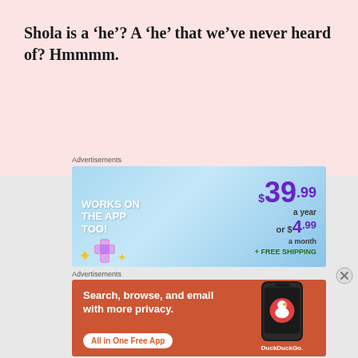Shola is a ‘he’? A ‘he’ that we’ve never heard of? Hmmmm.
[Figure (screenshot): Advertisement banner with blue gradient background. Left side: 'WORKS ON THE APP TOO!' in bold white uppercase text with star and plus icons. Right side: price '$39.99 a year or $4.99 a month + FREE SHIPPING' in purple and dark text.]
[Figure (screenshot): DuckDuckGo advertisement with orange/red background. Left: 'Search, browse, and email with more privacy. All in One Free App' button. Right: dark smartphone with DuckDuckGo logo and text.]